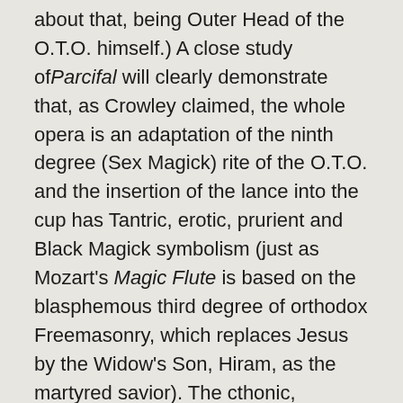about that, being Outer Head of the O.T.O. himself.) A close study of Parcifal will clearly demonstrate that, as Crowley claimed, the whole opera is an adaptation of the ninth degree (Sex Magick) rite of the O.T.O. and the insertion of the lance into the cup has Tantric, erotic, prurient and Black Magick symbolism (just as Mozart's Magic Flute is based on the blasphemous third degree of orthodox Freemasonry, which replaces Jesus by the Widow's Son, Hiram, as the martyred savior). The cthonic, Cthuhoid Evil of Wagner's works are indicated by the fact that Hitler said National Socialism was directly inspired by them–as confirmed by Adolfs close friend, August Kubizek, and Wagner's widow, Cosima. Although some still quarrel over numbers, it seems evident that National Socialism practiced human sacrifice on a scale far beyond that attributed to Voodooists or Jews by even the most